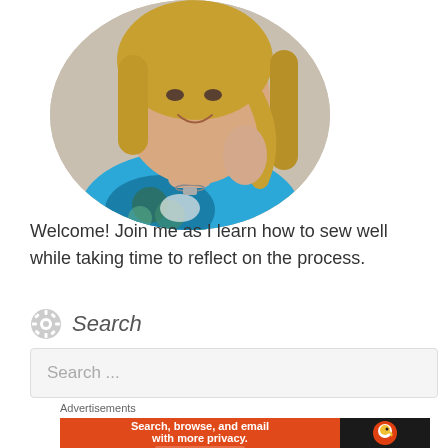[Figure (photo): Circular cropped profile photo of a smiling woman with blonde hair wearing a blue sleeveless top with floral pattern and a necklace, posed against a light background]
Welcome! Join me as I learn how to sew well while taking time to reflect on the process.
Search
Search ...
Advertisements
[Figure (screenshot): DuckDuckGo advertisement banner: orange left panel reading 'Search, browse, and email with more privacy. All in One Free App' and dark right panel with DuckDuckGo duck logo and text 'DuckDuckGo']